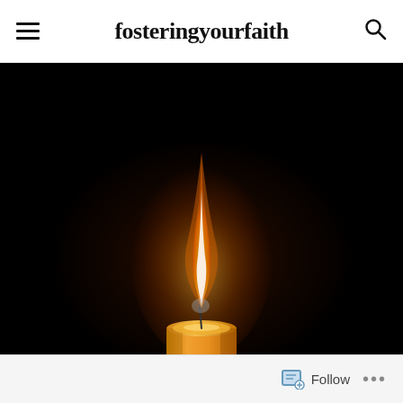fosteringyourfaith
[Figure (photo): A lit candle with orange-yellow flame against a completely black background. The flame rises tall and bright from a short yellow candle, illuminating the surrounding darkness.]
Follow ...